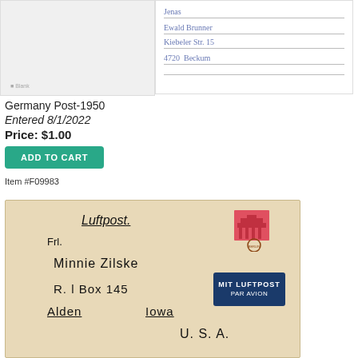[Figure (photo): Top portion of a German envelope or postcard with handwritten address lines showing name and address in blue ink, with ruled lines]
Germany Post-1950
Entered 8/1/2022
Price: $1.00
ADD TO CART
Item #F09983
[Figure (photo): Airmail envelope addressed to Minnie Zilske, R.1 Box 145, Alden Iowa, U.S.A. with Luftpost label, German stamp, and 'MIT LUFTPOST PAR AVION' blue label]